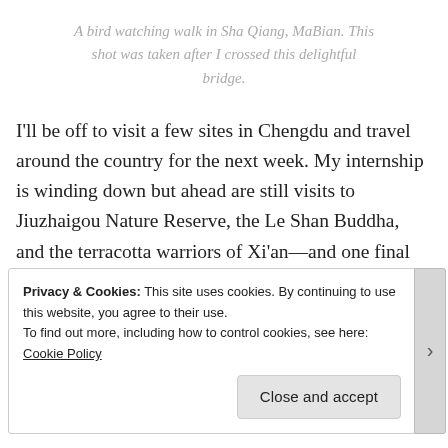A bird watching walk in Sha Qiang, MaBian. This shot was taken after I crossed this delightful bridge.
I'll be off to visit a few sites in Chengdu and travel around the country for the next week. My internship is winding down but ahead are still visits to Jiuzhaigou Nature Reserve, the Le Shan Buddha, and the terracotta warriors of Xi'an—and one final blog post.
Privacy & Cookies: This site uses cookies. By continuing to use this website, you agree to their use.
To find out more, including how to control cookies, see here:
Cookie Policy

Close and accept